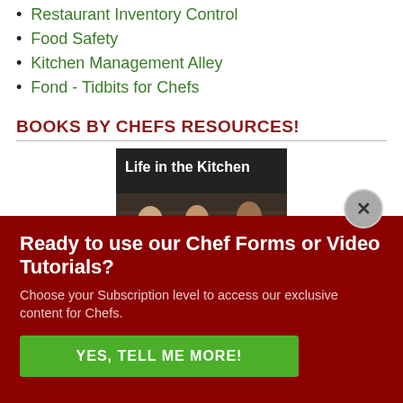Restaurant Inventory Control
Food Safety
Kitchen Management Alley
Fond - Tidbits for Chefs
BOOKS BY CHEFS RESOURCES!
[Figure (photo): Book cover titled 'Life in the Kitchen' showing three chefs in white uniforms looking downward in a kitchen setting, dark background]
[Figure (logo): OptinMonster badge/logo in grey box]
Ready to use our Chef Forms or Video Tutorials?
Choose your Subscription level to access our exclusive content for Chefs.
YES, TELL ME MORE!